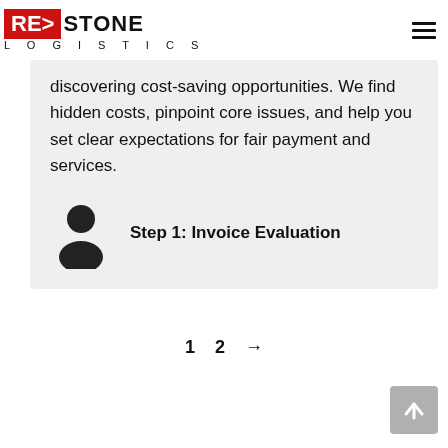REDSTONE LOGISTICS
discovering cost-saving opportunities. We find hidden costs, pinpoint core issues, and help you set clear expectations for fair payment and services.
Step 1: Invoice Evaluation
1  2  →
[Figure (other): Back to top arrow button in grey square]